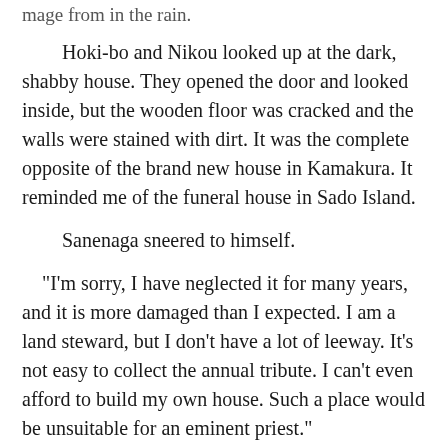Hoki-bo and Nikou looked up at the dark, shabby house. They opened the door and looked inside, but the wooden floor was cracked and the walls were stained with dirt. It was the complete opposite of the brand new house in Kamakura. It reminded me of the funeral house in Sado Island.
Sanenaga sneered to himself.
“I’m sorry, I have neglected it for many years, and it is more damaged than I expected. I am a land steward, but I don’t have a lot of leeway. It’s not easy to collect the annual tribute. I can’t even afford to build my own house. Such a place would be unsuitable for an eminent priest.”
Nichiren was surprisingly smiling.
“No, this is a good house. Thank you. Would you be willing to let me rent this place for a while to train?”